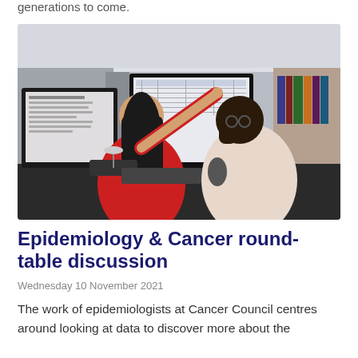generations to come.
[Figure (photo): Two women in an office setting looking at computer monitors. The woman on the left wears a red top and points at a screen showing data. The woman on the right leans in, wearing a light pink top. Office cubicles and bookshelves visible in the background.]
Epidemiology & Cancer round-table discussion
Wednesday 10 November 2021
The work of epidemiologists at Cancer Council centres around looking at data to discover more about the